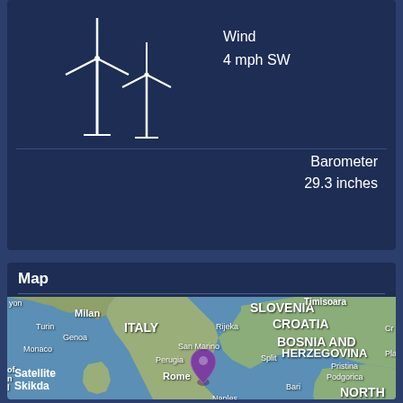Wind
4 mph SW
Barometer
29.3 inches
Map
[Figure (map): Satellite map of Italy and surrounding Mediterranean region including Slovenia, Croatia, Bosnia and Herzegovina, North Macedonia, Albania, Greece. Map shows cities: Milan, Turin, Genoa, Monaco, San Marino, Perugia, Rome, Naples, Cagliari, Palermo, Catania, Rijeka, Split, Bari, Pristina, Podgorica, Larisa, Patra. A purple location pin is placed near Naples/south of Rome. Label 'Tyrrhenian Sea' visible. Label 'Satellite' and 'Skikda' visible at bottom.]